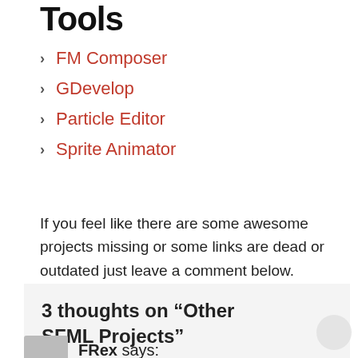Tools
FM Composer
GDevelop
Particle Editor
Sprite Animator
If you feel like there are some awesome projects missing or some links are dead or outdated just leave a comment below.
3 thoughts on “Other SFML Projects”
FRex says: